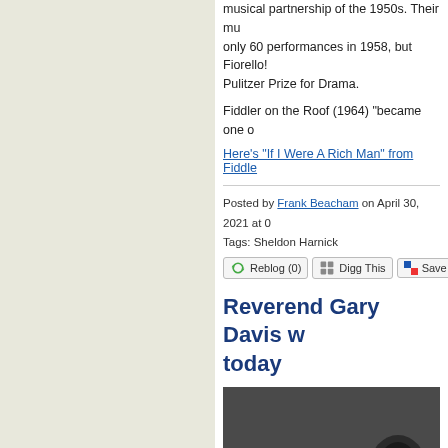musical partnership of the 1950s. Their musical only 60 performances in 1958, but Fiorello! won the Pulitzer Prize for Drama.
Fiddler on the Roof (1964) "became one o...
Here’s “If I Were A Rich Man” from Fiddler...
Posted by Frank Beacham on April 30, 2021 at 0...
Tags: Sheldon Harnick
Reblog (0)  Digg This  Save to del...
Reverend Gary Davis w... today
[Figure (photo): Black and white photograph showing what appears to be a guitar neck and tuning pegs close up]